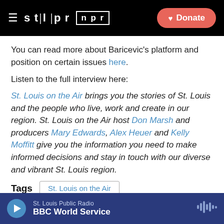STLPR NPR | Donate
You can read more about Baricevic's platform and position on certain issues here.
Listen to the full interview here:
St. Louis on the Air brings you the stories of St. Louis and the people who live, work and create in our region. St. Louis on the Air host Don Marsh and producers Mary Edwards, Alex Heuer and Kelly Moffitt give you the information you need to make informed decisions and stay in touch with our diverse and vibrant St. Louis region.
Tags  St. Louis on the Air
St. Louis Public Radio | BBC World Service